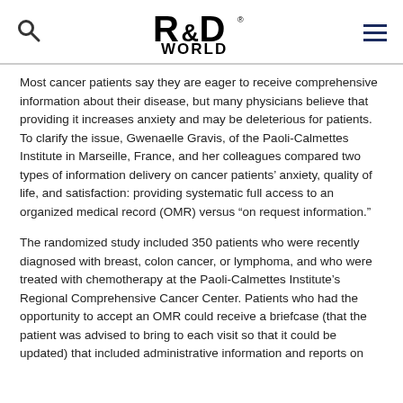R&D WORLD logo with search and menu icons
Most cancer patients say they are eager to receive comprehensive information about their disease, but many physicians believe that providing it increases anxiety and may be deleterious for patients. To clarify the issue, Gwenaelle Gravis, of the Paoli-Calmettes Institute in Marseille, France, and her colleagues compared two types of information delivery on cancer patients' anxiety, quality of life, and satisfaction: providing systematic full access to an organized medical record (OMR) versus “on request information.”
The randomized study included 350 patients who were recently diagnosed with breast, colon cancer, or lymphoma, and who were treated with chemotherapy at the Paoli-Calmettes Institute’s Regional Comprehensive Cancer Center. Patients who had the opportunity to accept an OMR could receive a briefcase (that the patient was advised to bring to each visit so that it could be updated) that included administrative information and reports on